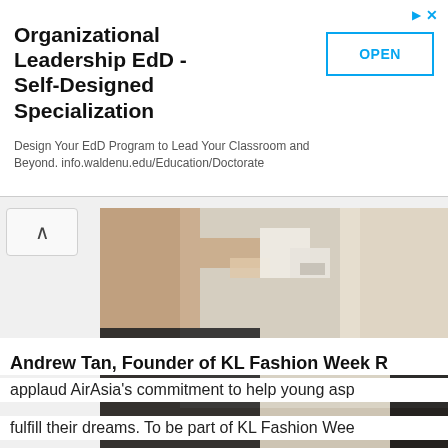[Figure (other): Advertisement banner for Organizational Leadership EdD - Self-Designed Specialization with OPEN button]
[Figure (photo): Photo showing people in what appears to be a fashion or medical setting, viewed from above]
Andrew Tan, Founder of KL Fashion Week R
applaud AirAsia’s commitment to help young asp
fulfill their dreams. To be part of KL Fashion Wee